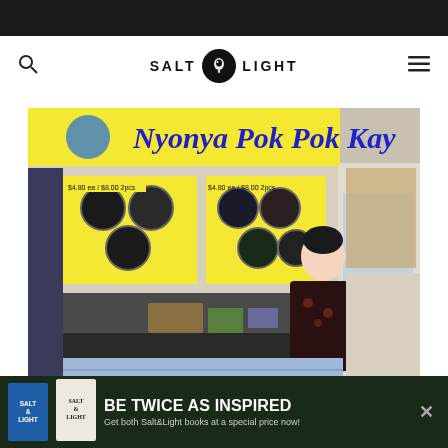SALT & LIGHT
[Figure (photo): A woman stands smiling in front of a hawker stall called 'Nyonya Pok Pok Kay' with a bright yellow banner and menu boards showing food items]
BUSINESS
Why would God care about a humble
[Figure (infographic): Advertisement banner showing two Salt & Light books with text 'BE TWICE AS INSPIRED - Get both Salt&Light books at a special price now!' with an X close button]